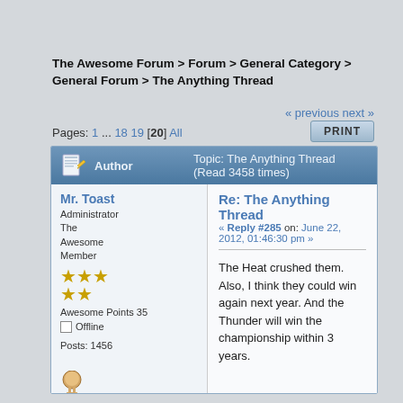The Awesome Forum > Forum > General Category > General Forum > The Anything Thread
« previous next »
Pages: 1 ... 18 19 [20] All
PRINT
| Author | Topic: The Anything Thread  (Read 3458 times) |
| --- | --- |
| Mr. Toast
Administrator
The Awesome Member
★★★
★★
Awesome Points 35
☐ Offline
Posts: 1456
Badges:
(View All) | Re: The Anything Thread
« Reply #285 on: June 22, 2012, 01:46:30 pm »
The Heat crushed them. Also, I think they could win again next year. And the Thunder will win the championship within 3 years. |